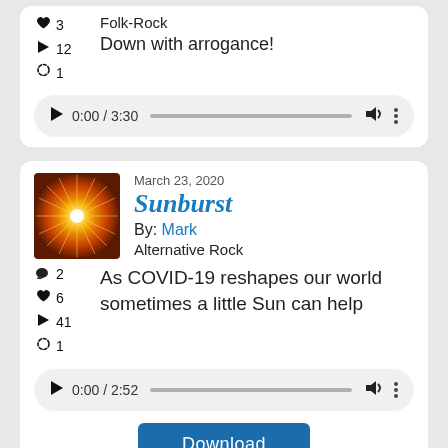♥ 3  ▶ 12  🔄 1  Folk-Rock  Down with arrogance!  0:00 / 3:30
March 23, 2020
Sunburst
By: Mark
Alternative Rock
💬 2  ♥ 6  ▶ 41  🔄 1  As COVID-19 reshapes our world sometimes a little Sun can help  0:00 / 2:52
Download